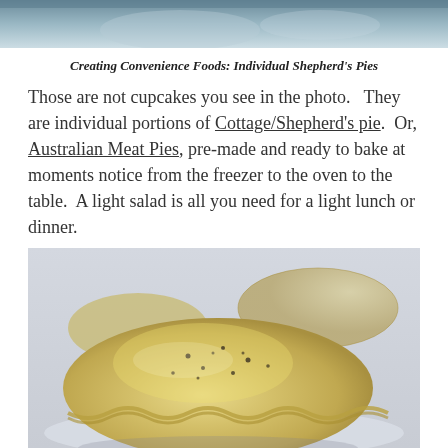[Figure (photo): Top portion of a photo showing baked pies/pasties on a surface, with blue-grey tones at top]
Creating Convenience Foods: Individual Shepherd's Pies
Those are not cupcakes you see in the photo.  They are individual portions of Cottage/Shepherd's pie.  Or, Australian Meat Pies, pre-made and ready to bake at moments notice from the freezer to the oven to the table.  A light salad is all you need for a light lunch or dinner.
[Figure (photo): Close-up photo of golden-brown baked meat pies/pasties with crimped edges on a white surface, sprinkled with black pepper]